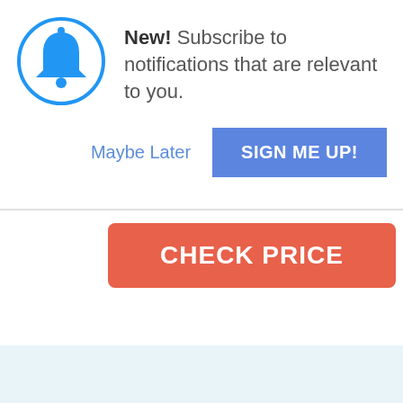[Figure (illustration): Blue bell notification icon inside a blue circle]
New! Subscribe to notifications that are relevant to you.
Maybe Later
SIGN ME UP!
CHECK PRICE